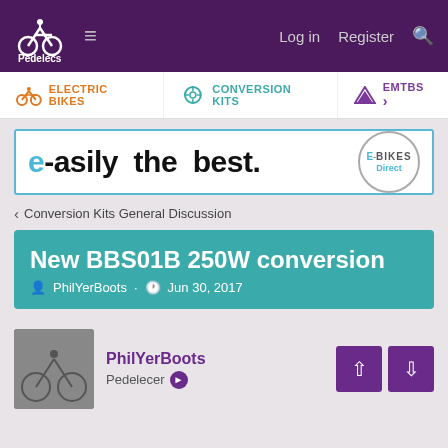Pedelecs | Log in | Register
ELECTRIC BIKES | CONVERSION KITS | EMTBS
[Figure (other): E-Bikes Direct advertisement banner: 'e-asily the best.' with E-Bikes Direct logo]
Conversion Kits General Discussion
New BBS01B 250W conversion
PhilYerBoots · Jun 30, 2017
PhilYerBoots
Pedelecer